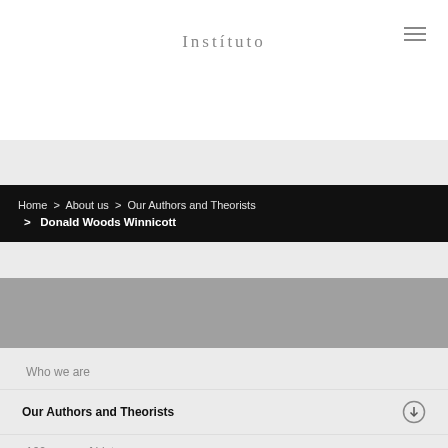Instituto
Home  >  About us  >  Our Authors and Theorists  >  Donald Woods Winnicott
[Figure (photo): Gray image placeholder banner]
Who we are
Our Authors and Theorists
100 years of history